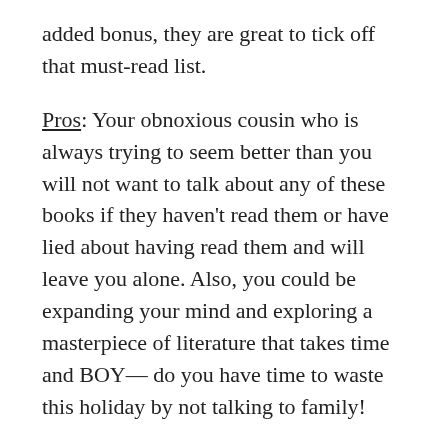added bonus, they are great to tick off that must-read list.
Pros: Your obnoxious cousin who is always trying to seem better than you will not want to talk about any of these books if they haven't read them or have lied about having read them and will leave you alone. Also, you could be expanding your mind and exploring a masterpiece of literature that takes time and BOY— do you have time to waste this holiday by not talking to family!
Cons: Your obnoxious cousin who is always trying to seem better than you might have actually picked up one of these thicc books and will...